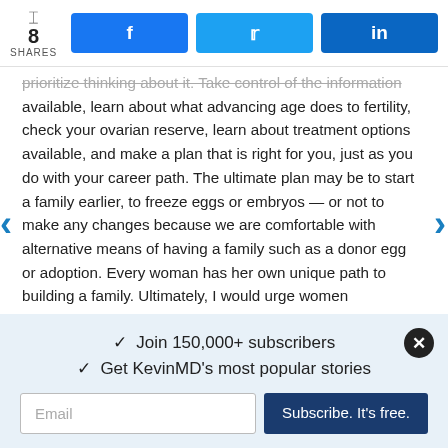8 SHARES | Facebook | Twitter | LinkedIn
prioritize thinking about it. Take control of the information available, learn about what advancing age does to fertility, check your ovarian reserve, learn about treatment options available, and make a plan that is right for you, just as you do with your career path. The ultimate plan may be to start a family earlier, to freeze eggs or embryos — or not to make any changes because we are comfortable with alternative means of having a family such as a donor egg or adoption. Every woman has her own unique path to building a family. Ultimately, I would urge women physicians to make informed decisions early on planning a future family, and not allow the passage of time to decide for you.
✓  Join 150,000+ subscribers
✓  Get KevinMD's most popular stories
Email | Subscribe. It's free.